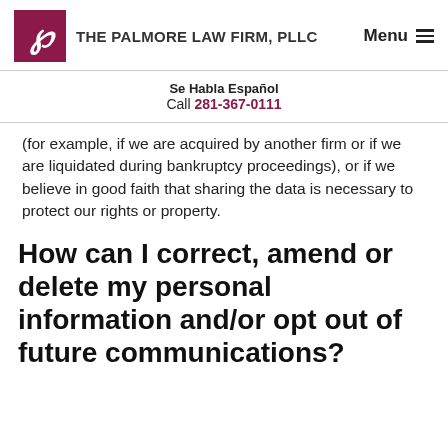THE PALMORE LAW FIRM, PLLC
Se Habla Español
Call 281-367-0111
(for example, if we are acquired by another firm or if we are liquidated during bankruptcy proceedings), or if we believe in good faith that sharing the data is necessary to protect our rights or property.
How can I correct, amend or delete my personal information and/or opt out of future communications?